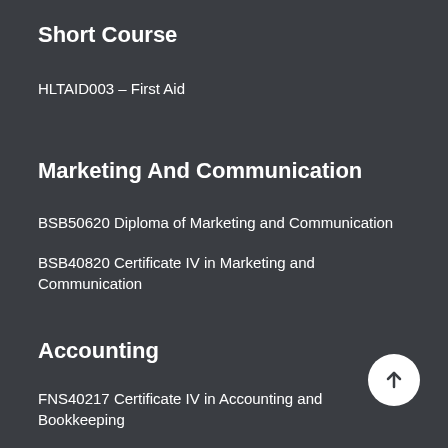Short Course
HLTAID003 – First Aid
Marketing And Communication
BSB50620 Diploma of Marketing and Communication
BSB40820 Certificate IV in Marketing and Communication
Accounting
FNS40217 Certificate IV in Accounting and Bookkeeping